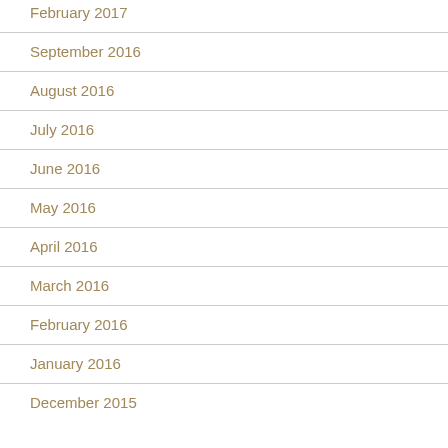February 2017
September 2016
August 2016
July 2016
June 2016
May 2016
April 2016
March 2016
February 2016
January 2016
December 2015